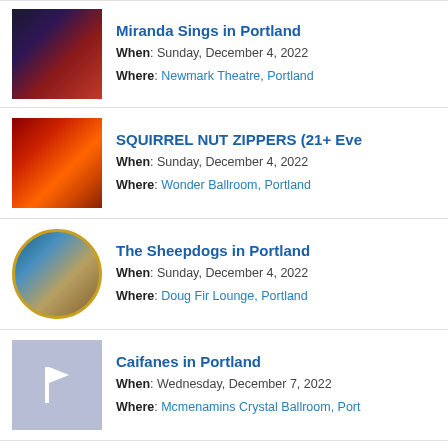Miranda Sings in Portland | When: Sunday, December 4, 2022 | Where: Newmark Theatre, Portland
SQUIRREL NUT ZIPPERS (21+ Eve | When: Sunday, December 4, 2022 | Where: Wonder Ballroom, Portland
The Sheepdogs in Portland | When: Sunday, December 4, 2022 | Where: Doug Fir Lounge, Portland
Caifanes in Portland | When: Wednesday, December 7, 2022 | Where: Mcmenamins Crystal Ballroom, Port